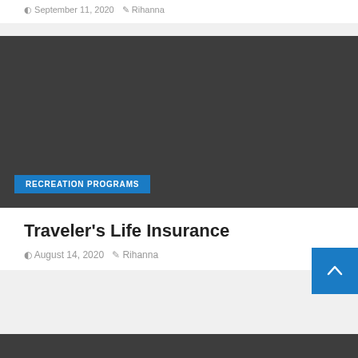September 11, 2020   Rihanna
[Figure (photo): Dark gray image block for a blog post with a blue 'RECREATION PROGRAMS' category badge in the bottom left]
Traveler's Life Insurance
August 14, 2020   Rihanna